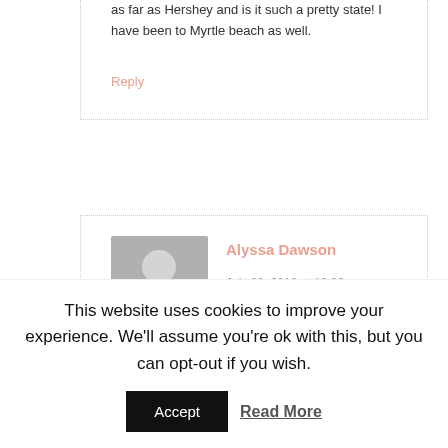as far as Hershey and is it such a pretty state! I have been to Myrtle beach as well.
Reply
Alyssa Dawson
July 22, 2018 at 12:36
This website uses cookies to improve your experience. We'll assume you're ok with this, but you can opt-out if you wish.
Accept
Read More